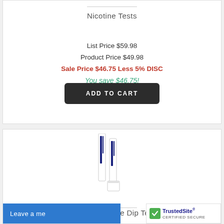Nicotine Tests
List Price $59.98
Product Price $49.98
Sale Price $46.75 Less 5% DISC
You save $13.23!
[Figure (illustration): ADD TO CART button, dark rounded rectangle]
[Figure (photo): Cotinine smoke dip test strips product image]
Cotinine Smoke Dip Test